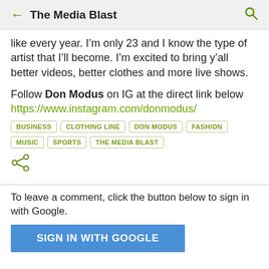The Media Blast
like every year. I'm only 23 and I know the type of artist that I'll become. I'm excited to bring y'all better videos, better clothes and more live shows.
Follow Don Modus on IG at the direct link below
https://www.instagram.com/donmodus/
BUSINESS
CLOTHING LINE
DON MODUS
FASHION
MUSIC
SPORTS
THE MEDIA BLAST
To leave a comment, click the button below to sign in with Google.
SIGN IN WITH GOOGLE